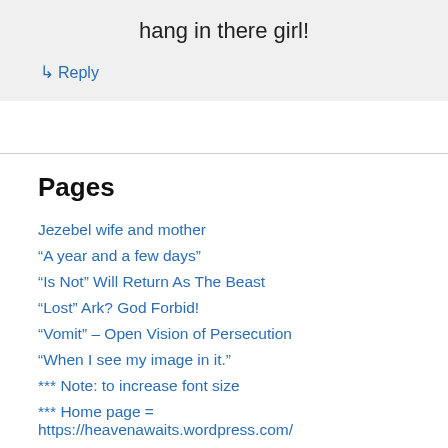hang in there girl!
↳ Reply
Pages
Jezebel wife and mother
“A year and a few days”
“Is Not” Will Return As The Beast
“Lost” Ark? God Forbid!
“Vomit” – Open Vision of Persecution
“When I see my image in it.”
*** Note: to increase font size
*** Home page = https://heavenawaits.wordpress.com/
10 Commandments and List of Sins
144,000 and the 2 Servants